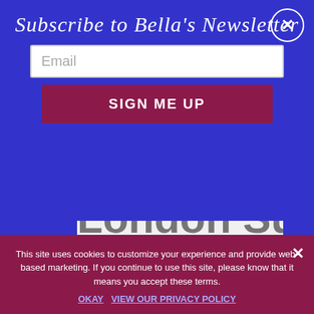Subscribe to Bella's Newsletter
Email
SIGN ME UP
London Sullivans in AS LONG AS I HAVE YOU on October 16th!
This site uses cookies to customize your experience and provide web-based marketing. If you continue to use this site, please know that it means you accept these terms.
OKAY   VIEW OUR PRIVACY POLICY